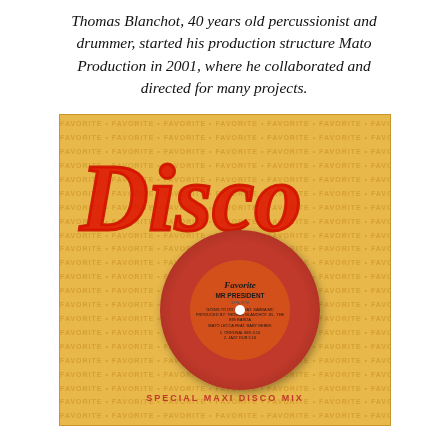Thomas Blanchot, 40 years old percussionist and drummer, started his production structure Mato Production in 2001, where he collaborated and directed for many projects.
[Figure (photo): Album cover for a 'Disco' special maxi disco mix by Mr President on the Favorite label. Gold/yellow background with repeated FAVORITE text pattern, large red 'Disco' script logo, vinyl record with orange label showing 'Favorite / MR PRESIDENT', and bottom text 'SPECIAL MAXI DISCO MIX'.]